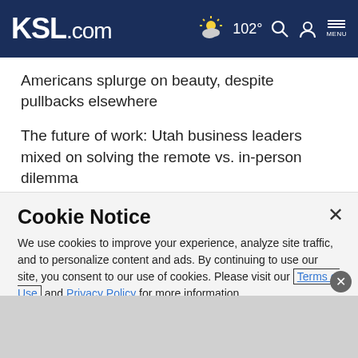KSL.com — 102° [weather icon] [search] [account] MENU
Americans splurge on beauty, despite pullbacks elsewhere
The future of work: Utah business leaders mixed on solving the remote vs. in-person dilemma
Related topics
Business & Tech
Cookie Notice
We use cookies to improve your experience, analyze site traffic, and to personalize content and ads. By continuing to use our site, you consent to our use of cookies. Please visit our Terms of Use and Privacy Policy for more information